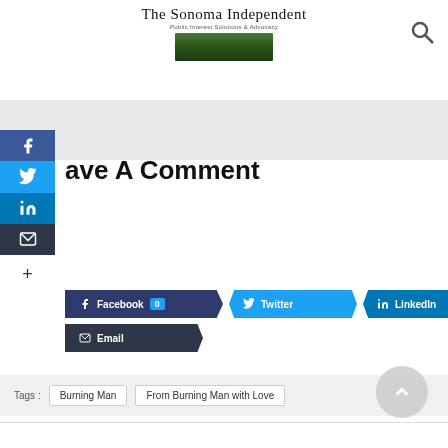The Sonoma Independent
Public Interest Solutions & Advocacy
Leave A Comment
[Figure (infographic): Social share buttons: Facebook (0), Twitter, LinkedIn, Email]
Tags : Burning Man   From Burning Man with Love